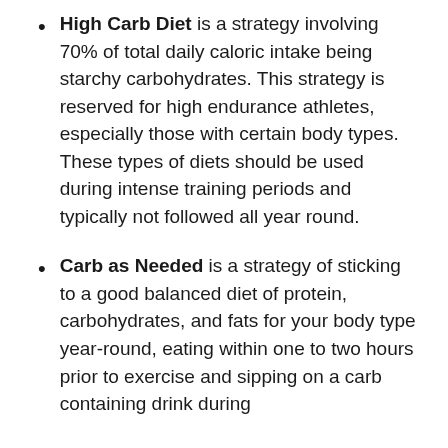High Carb Diet is a strategy involving 70% of total daily caloric intake being starchy carbohydrates. This strategy is reserved for high endurance athletes, especially those with certain body types. These types of diets should be used during intense training periods and typically not followed all year round.
Carb as Needed is a strategy of sticking to a good balanced diet of protein, carbohydrates, and fats for your body type year-round, eating within one to two hours prior to exercise and sipping on a carb containing drink during